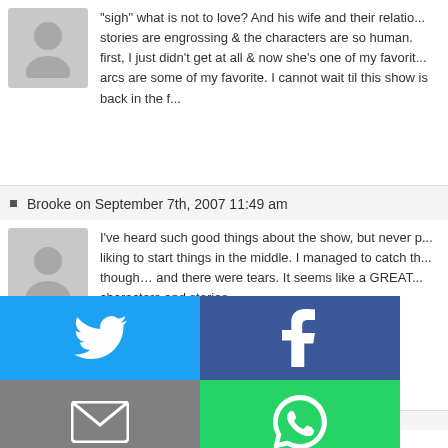"sigh" what is not to love? And his wife and their relationship... stories are engrossing & the characters are so human. first, I just didn't get at all & now she's one of my favorites... arcs are some of my favorite. I cannot wait til this show is back in the fall.
Brooke on September 7th, 2007 11:49 am
I've heard such good things about the show, but never picked it up not liking to start things in the middle. I managed to catch the finale though… and there were tears. It seems like a GREAT show with rich characters and stories.

Plus, I'm from the South. Come on…
Nancy on September 7th, 2007 11:50 am
wonderful, but Kyle Cha... ouple on television. Lo...
[Figure (infographic): Share buttons overlay: Twitter (blue), Facebook (dark blue), Email (grey), WhatsApp (green), SMS (blue), Other/Share (dark green)]